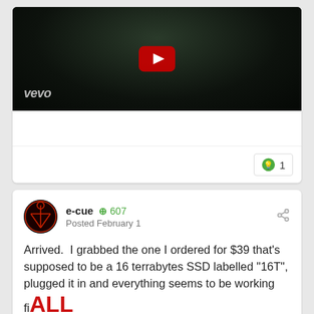[Figure (screenshot): YouTube/Vevo video thumbnail — dark outdoor night scene with YouTube play button overlay and 'vevo' watermark in bottom left]
1
e-cue  +607
Posted February 1
Arrived.  I grabbed the one I ordered for $39 that's supposed to be a 16 terrabytes SSD labelled "16T", plugged it in and everything seems to be working fiALL YOUR BASE ARE BELONG TO